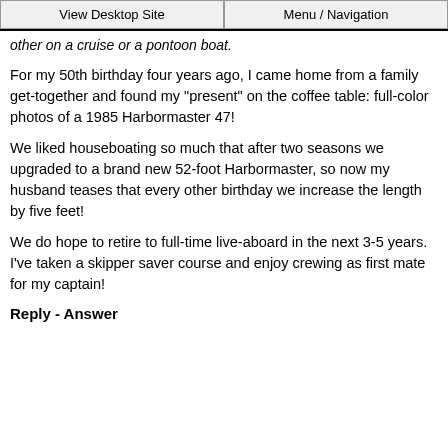View Desktop Site | Menu / Navigation
other on a cruise or a pontoon boat.
For my 50th birthday four years ago, I came home from a family get-together and found my "present" on the coffee table: full-color photos of a 1985 Harbormaster 47!
We liked houseboating so much that after two seasons we upgraded to a brand new 52-foot Harbormaster, so now my husband teases that every other birthday we increase the length by five feet!
We do hope to retire to full-time live-aboard in the next 3-5 years. I've taken a skipper saver course and enjoy crewing as first mate for my captain!
Reply - Answer